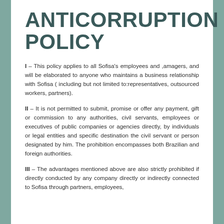ANTICORRUPTION POLICY
I – This policy applies to all Sofisa's employees and ,amagers, and will be elaborated to anyone who maintains a business relationship with Sofisa ( including but not limited to:representatives, outsourced workers, partners).
II – It is not permitted to submit, promise or offer any payment, gift or commission to any authorities, civil servants, employees or executives of public companies or agencies directly, by individuals or legal entities and specific destination the civil servant or person designated by him. The prohibition encompasses both Brazilian and foreign authorities.
III – The advantages mentioned above are also strictly prohibited if directly conducted by any company directly or indirectly connected to Sofisa through partners, employees,